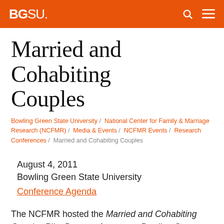BGSU
Married and Cohabiting Couples
Bowling Green State University / National Center for Family & Marriage Research (NCFMR) / Media & Events / NCFMR Events / Research Conferences / Married and Cohabiting Couples
August 4, 2011
Bowling Green State University
Conference Agenda
The NCFMR hosted the Married and Cohabiting Couples Pilot Data conference at Bowling Green State University. Teams of researchers from around the